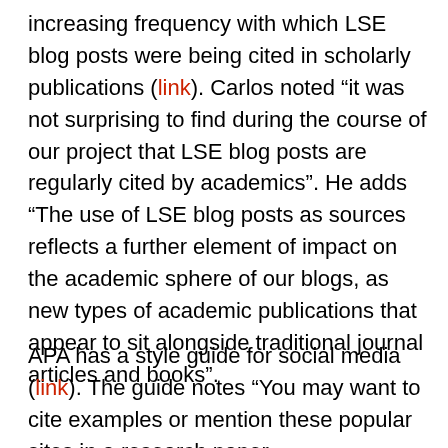increasing frequency with which LSE blog posts were being cited in scholarly publications (link). Carlos noted “it was not surprising to find during the course of our project that LSE blog posts are regularly cited by academics”. He adds “The use of LSE blog posts as sources reflects a further element of impact on the academic sphere of our blogs, as new types of academic publications that appear to sit alongside traditional journal articles and books”.
APA has a style guide for social media (link). The guide notes “You may want to cite examples or mention these popular sites in a research paper,